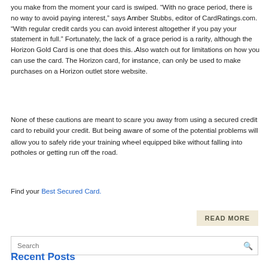you make from the moment your card is swiped. “With no grace period, there is no way to avoid paying interest,” says Amber Stubbs, editor of CardRatings.com. “With regular credit cards you can avoid interest altogether if you pay your statement in full.” Fortunately, the lack of a grace period is a rarity, although the Horizon Gold Card is one that does this. Also watch out for limitations on how you can use the card. The Horizon card, for instance, can only be used to make purchases on a Horizon outlet store website.
None of these cautions are meant to scare you away from using a secured credit card to rebuild your credit. But being aware of some of the potential problems will allow you to safely ride your training wheel equipped bike without falling into potholes or getting run off the road.
Find your Best Secured Card.
READ MORE
Recent Posts